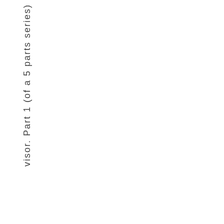visor. Part 1 (of a 5 parts series)